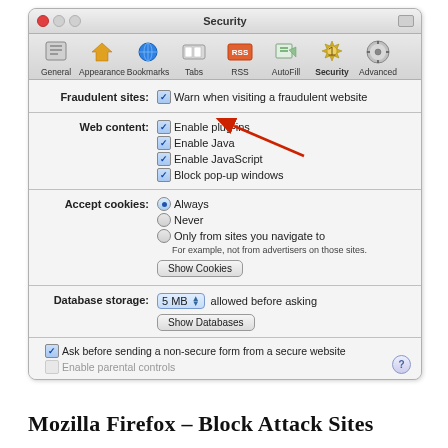[Figure (screenshot): macOS Safari Security preferences panel showing options: Fraudulent sites checkbox 'Warn when visiting a fraudulent website' (checked, with red arrow pointing to it), Web content checkboxes for Enable plug-ins, Enable Java, Enable JavaScript, Block pop-up windows (all checked), Accept cookies radio buttons (Always selected, Never, Only from sites you navigate to), Show Cookies button, Database storage dropdown set to 5 MB with 'allowed before asking' text and Show Databases button, Ask before sending a non-secure form from a secure website checkbox (checked), Enable parental controls (unchecked/grayed), and a help (?) button.]
Mozilla Firefox – Block Attack Sites